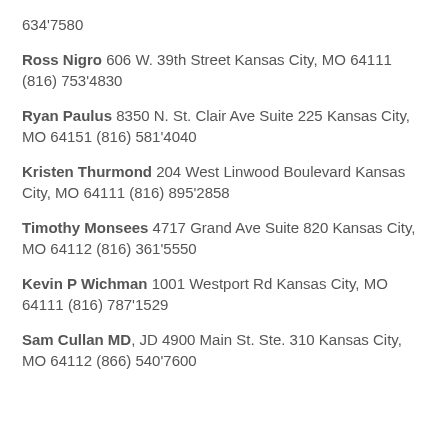634'7580
Ross Nigro 606 W. 39th Street Kansas City, MO 64111 (816) 753'4830
Ryan Paulus 8350 N. St. Clair Ave Suite 225 Kansas City, MO 64151 (816) 581'4040
Kristen Thurmond 204 West Linwood Boulevard Kansas City, MO 64111 (816) 895'2858
Timothy Monsees 4717 Grand Ave Suite 820 Kansas City, MO 64112 (816) 361'5550
Kevin P Wichman 1001 Westport Rd Kansas City, MO 64111 (816) 787'1529
Sam Cullan MD, JD 4900 Main St. Ste. 310 Kansas City, MO 64112 (866) 540'7600